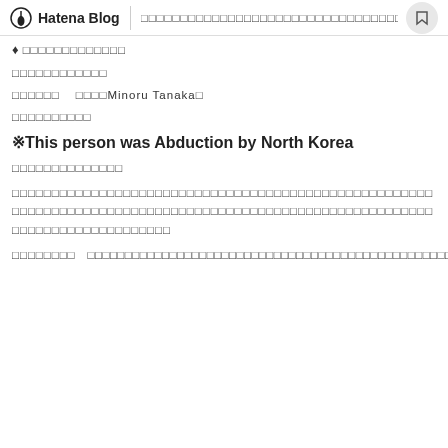Hatena Blog | □□□□□□□□□□□□□□□□□□□□□□□□□□□□□□□□□□□□□
♦□□□□□□□□□□□□□
□□□□□□□□□□□□
□□□□□□   □□□□Minoru Tanaka□
□□□□□□□□□□
※This person was Abduction by North Korea
□□□□□□□□□□□□□□
□□□□□□□□□□□□□□□□□□□□□□□□□□□□□□□□□□□□□□□□□□□□□□□□□□□□□□□□□□□□□□□□□□□□□□□□□□□□□□□□□□□□□□□□□□□□□□□
□□□□□□□□   □□□□□□□□□□□□□□□□□□□□□□□□□□□□□□□□□□□□□□□□□□□□□□□□□□□□□□□□□□□□□□□□□□□□□□□□□□□□□□□□□□□□□□